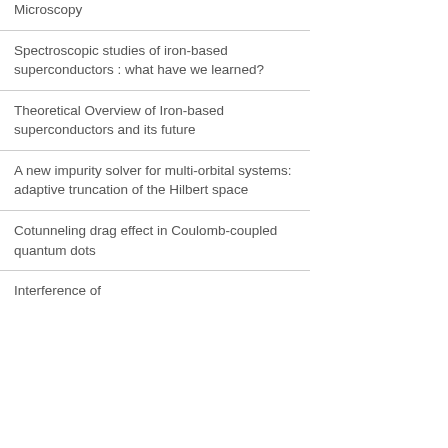Microscopy
Spectroscopic studies of iron-based superconductors : what have we learned?
Theoretical Overview of Iron-based superconductors and its future
A new impurity solver for multi-orbital systems: adaptive truncation of the Hilbert space
Cotunneling drag effect in Coulomb-coupled quantum dots
Interference of